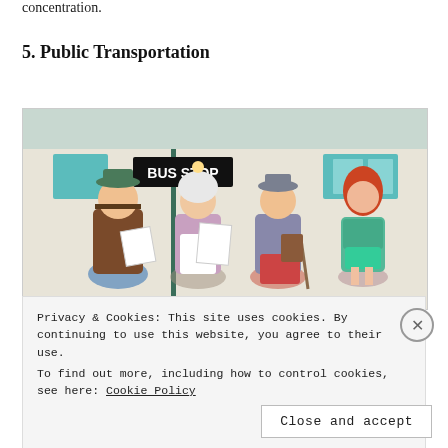concentration.
5. Public Transportation
[Figure (illustration): Cartoon illustration of four animated characters standing at a BUS STOP sign. From left to right: a stout man in a brown jacket and blue pants holding papers, an elderly woman in white hair and apron holding papers, an older man in a grey suit with red pants holding a cane, and a red-haired woman in a teal outfit. Background shows a light-colored building with teal windows.]
Privacy & Cookies: This site uses cookies. By continuing to use this website, you agree to their use.
To find out more, including how to control cookies, see here: Cookie Policy
Close and accept